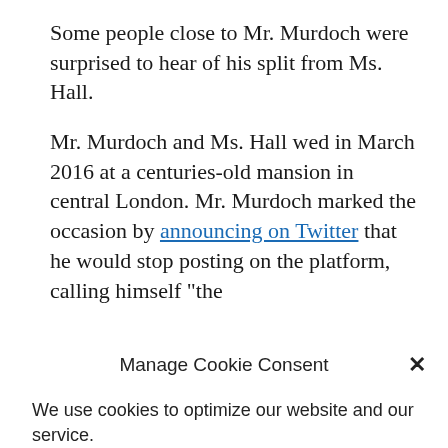Some people close to Mr. Murdoch were surprised to hear of his split from Ms. Hall.
Mr. Murdoch and Ms. Hall wed in March 2016 at a centuries-old mansion in central London. Mr. Murdoch marked the occasion by announcing on Twitter that he would stop posting on the platform, calling himself "the
Manage Cookie Consent
We use cookies to optimize our website and our service.
Accept
Cookie Policy